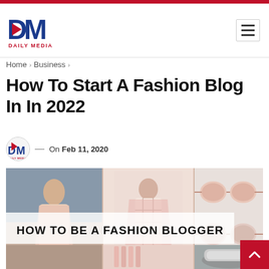Daily Media — navigation header with logo and hamburger menu
Home › Business ›
How To Start A Fashion Blog In In 2022
On Feb 11, 2020
[Figure (photo): Fashion blogger collage image with text 'HOW TO BE A FASHION BLOGGER' overlaid. Shows a woman in pink blazer, clothing items, sunglasses, and sneakers in a grid layout.]